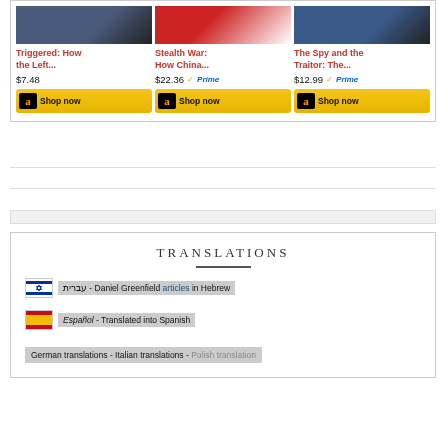[Figure (screenshot): Amazon product listings for three books: 'Triggered: How the Left...' at $7.48, 'Stealth War: How China...' at $22.36 with Prime, 'The Spy and the Traitor: The...' at $12.99 with Prime, each with a Shop now button]
Triggered: How the Left...
$7.48
Stealth War: How China...
$22.36
The Spy and the Traitor: The...
$12.99
TRANSLATIONS
עברית - Daniel Greenfield articles in Hebrew
Español - Translated into Spanish
German translations - Italian translations - Polish translation